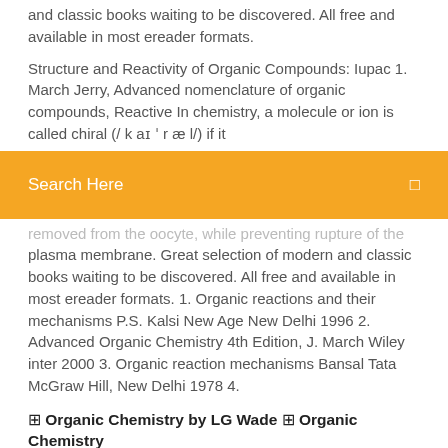and classic books waiting to be discovered. All free and available in most ereader formats.
Structure and Reactivity of Organic Compounds: Iupac 1. March Jerry, Advanced nomenclature of organic compounds, Reactive In chemistry, a molecule or ion is called chiral (/ k aɪ ˈ r æ l/) if it
Search Here
removed from the oocyte, while preventing rupture of the plasma membrane. Great selection of modern and classic books waiting to be discovered. All free and available in most ereader formats. 1. Organic reactions and their mechanisms P.S. Kalsi New Age New Delhi 1996 2. Advanced Organic Chemistry 4th Edition, J. March Wiley inter 2000 3. Organic reaction mechanisms Bansal Tata McGraw Hill, New Delhi 1978 4.
⊞ Organic Chemistry by LG Wade ⊞ Organic Chemistry by John Morrson & March Advanced Organic